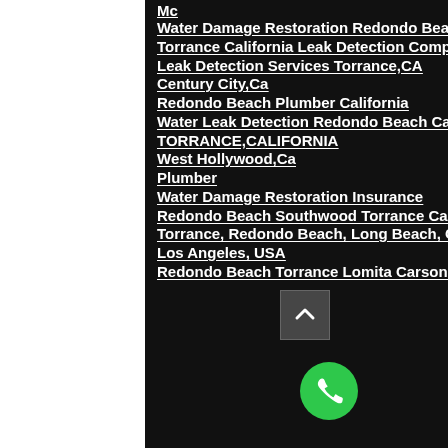Mc
Water Damage Restoration Redondo Beach Ca
Torrance California Leak Detection Company
Leak Detection Services Torrance,CA
Century City,Ca
Redondo Beach Plumber California
Water Leak Detection Redondo Beach Ca
TORRANCE,CALIFORNIA
West Hollywood,Ca
Plumber
Water Damage Restoration Insurance
Redondo Beach Southwood Torrance California
Torrance, Redondo Beach, Long Beach, Ca USA
Los Angeles, USA
Redondo Beach Torrance Lomita Carson California